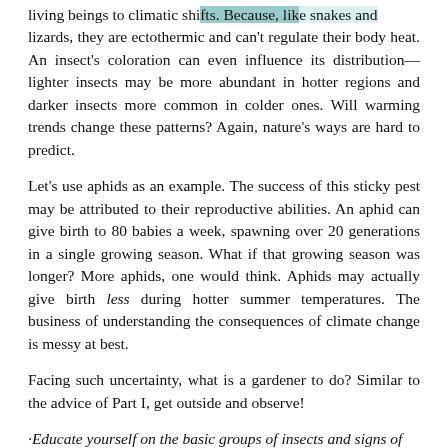living beings to climatic shifts. Because, like snakes and lizards, they are ectothermic and can't regulate their body heat. An insect's coloration can even influence its distribution—lighter insects may be more abundant in hotter regions and darker insects more common in colder ones. Will warming trends change these patterns? Again, nature's ways are hard to predict.
Let's use aphids as an example. The success of this sticky pest may be attributed to their reproductive abilities. An aphid can give birth to 80 babies a week, spawning over 20 generations in a single growing season. What if that growing season was longer? More aphids, one would think. Aphids may actually give birth less during hotter summer temperatures. The business of understanding the consequences of climate change is messy at best.
Facing such uncertainty, what is a gardener to do? Similar to the advice of Part I, get outside and observe!
·Educate yourself on the basic groups of insects and signs of damage
·Keep notes when you suspect pest or disease problems
·Learn the principles of integrated pest management (IPM)